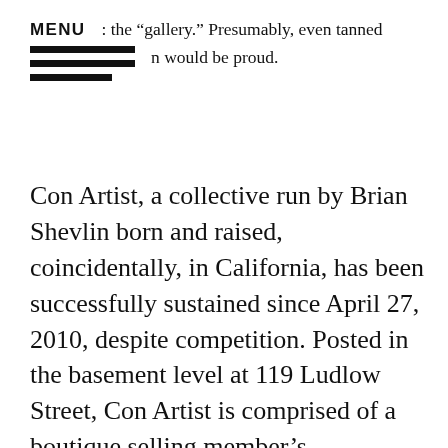MENU : the “gallery.” Presumably, even tanned n would be proud.
Con Artist, a collective run by Brian Shevlin born and raised, coincidentally, in California, has been successfully sustained since April 27, 2010, despite competition. Posted in the basement level at 119 Ludlow Street, Con Artist is comprised of a boutique selling member’s merchandise and hosts “Gallery Nights” on Wednesday while the rest of the week the backroom is used by members as workshop. Unlike most collectives, which tend to exclude outside artists and strangers, Con Artist welcomes the community from 4:00 PM until